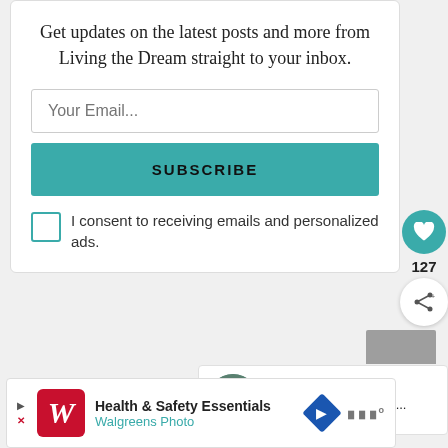Get updates on the latest posts and more from Living the Dream straight to your inbox.
Your Email...
SUBSCRIBE
I consent to receiving emails and personalized ads.
127
WHAT'S NEXT → 8 Photos of Animals in...
Health & Safety Essentials Walgreens Photo